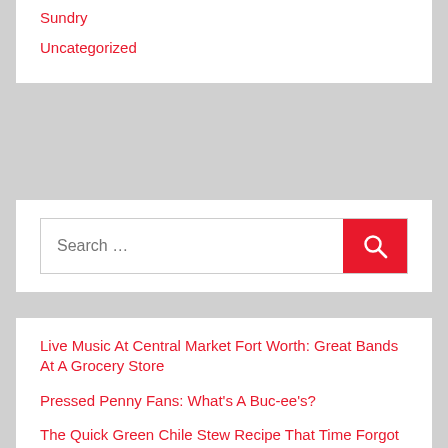Sundry
Uncategorized
[Figure (screenshot): Search input box with red search button containing a magnifying glass icon]
Live Music At Central Market Fort Worth: Great Bands At A Grocery Store
Pressed Penny Fans: What's A Buc-ee's?
The Quick Green Chile Stew Recipe That Time Forgot
An Evening In Fort Worth, Texas Without A Plan